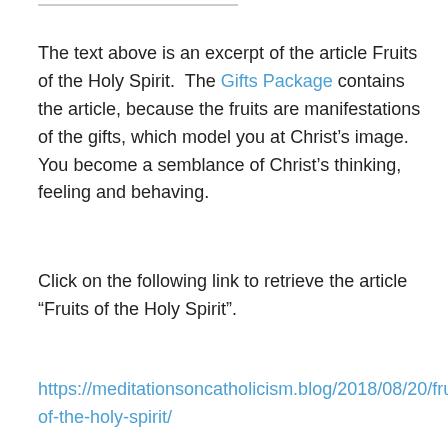The text above is an excerpt of the article Fruits of the Holy Spirit.  The Gifts Package contains the article, because the fruits are manifestations of the gifts, which model you at Christ’s image.  You become a semblance of Christ’s thinking, feeling and behaving.
Click on the following link to retrieve the article “Fruits of the Holy Spirit”.
https://meditationsoncatholicism.blog/2018/08/20/fruits-of-the-holy-spirit/